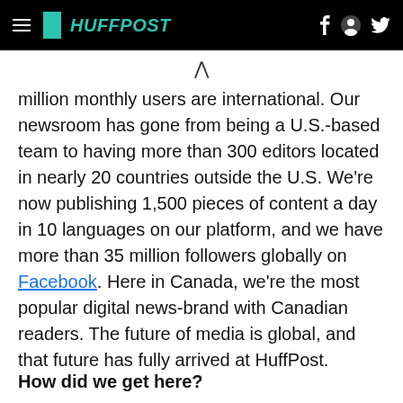HUFFPOST
million monthly users are international. Our newsroom has gone from being a U.S.-based team to having more than 300 editors located in nearly 20 countries outside the U.S. We're now publishing 1,500 pieces of content a day in 10 languages on our platform, and we have more than 35 million followers globally on Facebook. Here in Canada, we're the most popular digital news-brand with Canadian readers. The future of media is global, and that future has fully arrived at HuffPost.
How did we get here?